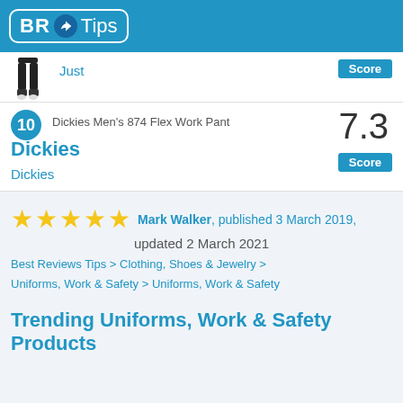BR Tips
Just
Score
10
Dickies Men's 874 Flex Work Pant
Dickies
7.3
Score
Dickies
★★★★★ Mark Walker, published 3 March 2019, updated 2 March 2021
Best Reviews Tips > Clothing, Shoes & Jewelry > Uniforms, Work & Safety > Uniforms, Work & Safety
Trending Uniforms, Work & Safety Products